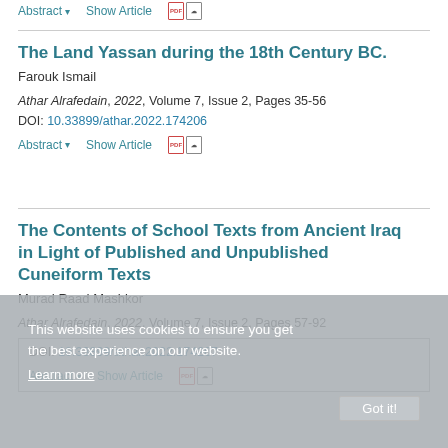Abstract ▾   Show Article   [pdf icons]
The Land Yassan during the 18th Century BC.
Farouk Ismail
Athar Alrafedain, 2022, Volume 7, Issue 2, Pages 35-56
DOI: 10.33899/athar.2022.174206
Abstract ▾   Show Article   [pdf icons]
The Contents of School Texts from Ancient Iraq in Light of Published and Unpublished Cuneiform Texts
Murad Raad Mashkor
Athar Alrafedain, 2022, Volume 7, Issue 2, Pages 57-92
DOI: 10.33899/athar.2022.174207
Abstract ▾   Show Article   [pdf icons]